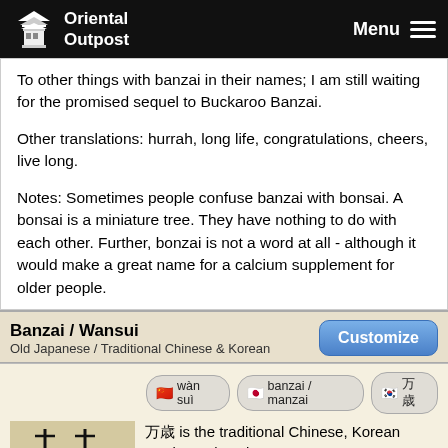Oriental Outpost | Menu
To other things with banzai in their names; I am still waiting for the promised sequel to Buckaroo Banzai.
Other translations: hurrah, long life, congratulations, cheers, live long.
Notes: Sometimes people confuse banzai with bonsai. A bonsai is a miniature tree. They have nothing to do with each other. Further, bonzai is not a word at all - although it would make a great name for a calcium supplement for older people.
Banzai / Wansui
Old Japanese / Traditional Chinese & Korean
Customize
wàn suì | banzai / manzai | 🇰🇷 万歳
[Figure (illustration): Calligraphy illustration of Banzai/Wansui characters, showing tall vertical strokes on a stone/earth background]
万歳 is the traditional Chinese, Korean Hanja, and ancient Japanese way to